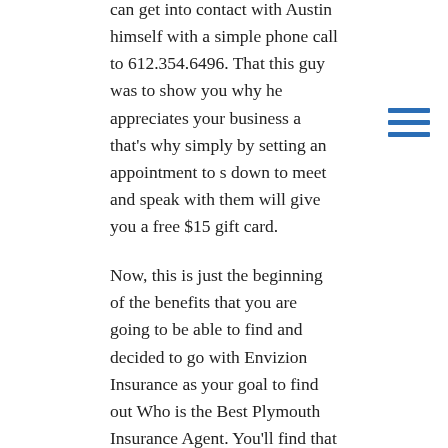can get into contact with Austin himself with a simple phone call to 612.354.6496. That this guy was to show you why he appreciates your business a that's why simply by setting an appointment to s down to meet and speak with them will give you a free $15 gift card.
Now, this is just the beginning of the benefits that you are going to be able to find and decided to go with Envizion Insurance as your goal to find out Who is the Best Plymouth Insurance Agent. You'll find that you do a quick search on the World Wide Web there many reviews and testimonials to confirm the statement. There many people who been able to benefit greatly from getting the insurance that they need where there was life insurance, auto, even home insurance and anything in between.
Now as a team Who is the Best Plymouth Insurance Agent you'll find that Envizion Insurance does it all.